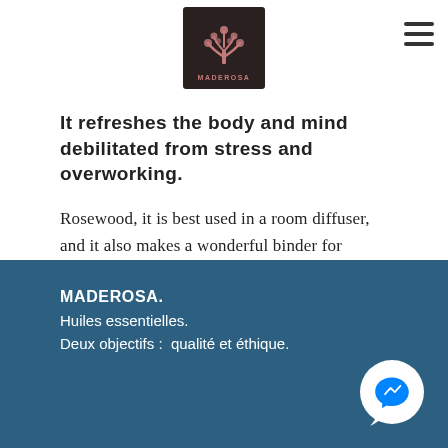[Figure (logo): Maderosa logo: dark square with decorative tree/plant motif in pink/rose, text MADEROSA below]
It refreshes the body and mind debilitated from stress and overworking.
Rosewood, it is best used in a room diffuser, and it also makes a wonderful binder for blends. It is very potent and only a small amount is needed.
MADEROSA.
Huiles essentielles.
Deux objectifs :  qualité et éthique.